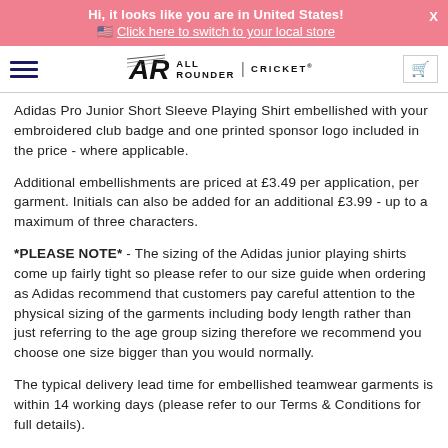Hi, it looks like you are in United States! 🇺🇸 Click here to switch to your local store
[Figure (logo): All Rounder Cricket logo with hamburger menu and cart icon in navigation bar]
Adidas Pro Junior Short Sleeve Playing Shirt embellished with your embroidered club badge and one printed sponsor logo included in the price - where applicable.
Additional embellishments are priced at £3.49 per application, per garment. Initials can also be added for an additional £3.99 - up to a maximum of three characters.
*PLEASE NOTE* - The sizing of the Adidas junior playing shirts come up fairly tight so please refer to our size guide when ordering as Adidas recommend that customers pay careful attention to the physical sizing of the garments including body length rather than just referring to the age group sizing therefore we recommend you choose one size bigger than you would normally.
The typical delivery lead time for embellished teamwear garments is within 14 working days (please refer to our Terms & Conditions for full details).